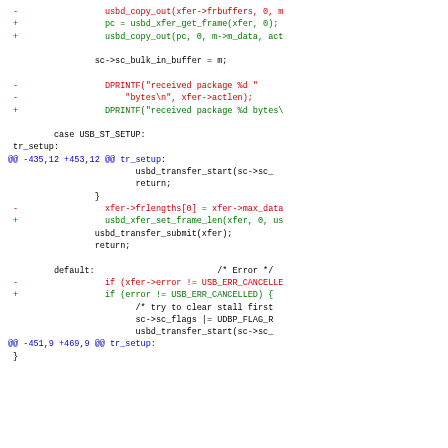[Figure (screenshot): Code diff showing changes to USB driver code in C. Red lines show removed code, green lines show added code, blue lines show diff hunk headers. Context lines are black.]